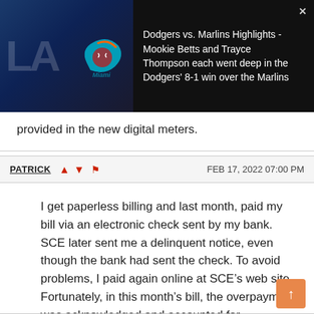[Figure (screenshot): Video ad banner showing Dodgers vs. Marlins baseball game highlights thumbnail with team logos on dark background]
provided in the new digital meters.
PATRICK  FEB 17, 2022 07:00 PM
I get paperless billing and last month, paid my bill via an electronic check sent by my bank. SCE later sent me a delinquent notice, even though the bank had sent the check. To avoid problems, I paid again online at SCE’s web site. Fortunately, in this month’s bill, the overpayment was acknowledged and accounted for. Nevertheless, the experience didn’t instill confidence in SCE’s system.